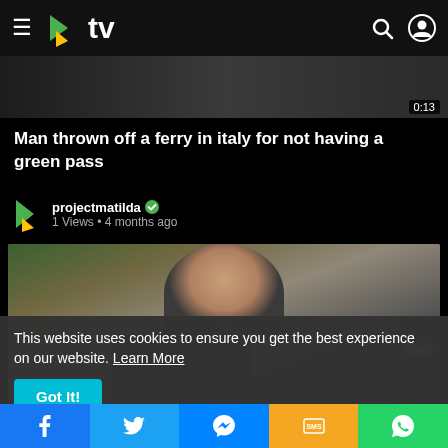≡ >tv
[Figure (screenshot): Dark video thumbnail strip at top showing partial video content with timestamp 0:13]
Man thrown off a ferry in italy for not having a green pass
projectmatilda ✓
1 Views · 4 months ago
[Figure (screenshot): Video thumbnail showing a person at a press conference surrounded by microphones, with a purple 'hope' badge visible. Timestamp 0:26]
This website uses cookies to ensure you get the best experience on our website. Learn More
Got It!
f  Twitter  Messenger  SMS  WhatsApp